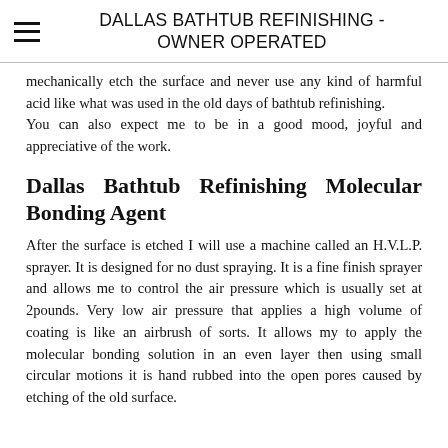DALLAS BATHTUB REFINISHING - OWNER OPERATED
mechanically etch the surface and never use any kind of harmful acid like what was used in the old days of bathtub refinishing.
You can also expect me to be in a good mood, joyful and appreciative of the work.
Dallas Bathtub Refinishing Molecular Bonding Agent
After the surface is etched I will use a machine called an H.V.L.P. sprayer. It is designed for no dust spraying. It is a fine finish sprayer and allows me to control the air pressure which is usually set at 2pounds. Very low air pressure that applies a high volume of coating is like an airbrush of sorts. It allows my to apply the molecular bonding solution in an even layer then using small circular motions it is hand rubbed into the open pores caused by etching of the old surface.